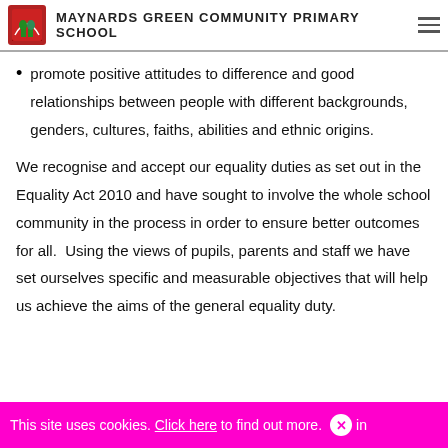MAYNARDS GREEN COMMUNITY PRIMARY SCHOOL
promote positive attitudes to difference and good relationships between people with different backgrounds, genders, cultures, faiths, abilities and ethnic origins.
We recognise and accept our equality duties as set out in the Equality Act 2010 and have sought to involve the whole school community in the process in order to ensure better outcomes for all. Using the views of pupils, parents and staff we have set ourselves specific and measurable objectives that will help us achieve the aims of the general equality duty.
This site uses cookies. Click here to find out more.